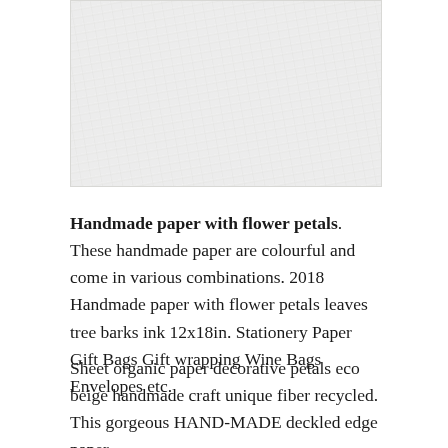[Figure (photo): A light grey textured handmade paper surface with fibrous texture, shown as a cropped rectangular image at the top of the page.]
Handmade paper with flower petals. These handmade paper are colourful and come in various combinations. 2018 Handmade paper with flower petals leaves tree barks ink 12x18in. Stationery Paper Gift Bags Gift wrapping Wine Bags Envelopes etc.
Sheet organic paper decorative petals eco beige handmade craft unique fiber recycled. This gorgeous HAND-MADE deckled edge paper